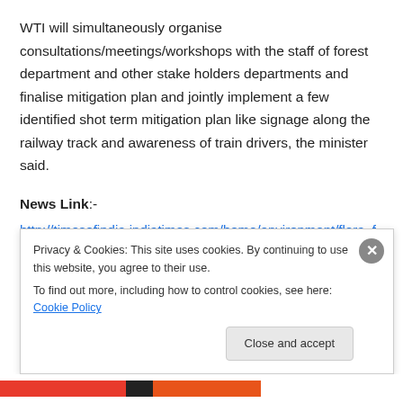WTI will simultaneously organise consultations/meetings/workshops with the staff of forest department and other stake holders departments and finalise mitigation plan and jointly implement a few identified shot term mitigation plan like signage along the railway track and awareness of train drivers, the minister said.
News Link:-
http://timesofindia.indiatimes.com/home/environment/flora–fauna/Odisha-signs-MoU-with-Wildlife-Trust-of-India-to-save-elephants-from-train-hits/articleshow/19990978.cms?
Privacy & Cookies: This site uses cookies. By continuing to use this website, you agree to their use.
To find out more, including how to control cookies, see here: Cookie Policy